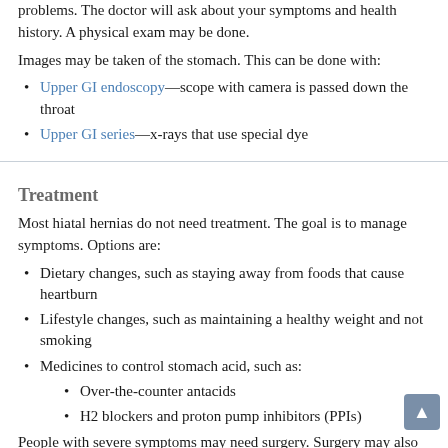problems. The doctor will ask about your symptoms and health history. A physical exam may be done.
Images may be taken of the stomach. This can be done with:
Upper GI endoscopy—scope with camera is passed down the throat
Upper GI series—x-rays that use special dye
Treatment
Most hiatal hernias do not need treatment. The goal is to manage symptoms. Options are:
Dietary changes, such as staying away from foods that cause heartburn
Lifestyle changes, such as maintaining a healthy weight and not smoking
Medicines to control stomach acid, such as:
Over-the-counter antacids
H2 blockers and proton pump inhibitors (PPIs)
People with severe symptoms may need surgery. Surgery may also be needed for a hernia that is cutting off blood flow to the stomach.